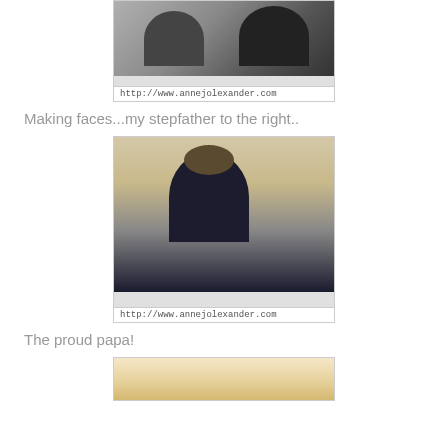[Figure (photo): Black and white photo of two men sitting at a table making faces, with watermark http://www.annejolexander.com]
Making faces...my stepfather to the right..
[Figure (photo): Color photo of a man in a dark suit smiling, standing indoors, with watermark http://www.annejolexander.com]
The proud papa!
[Figure (photo): Partially visible photo at bottom of page]